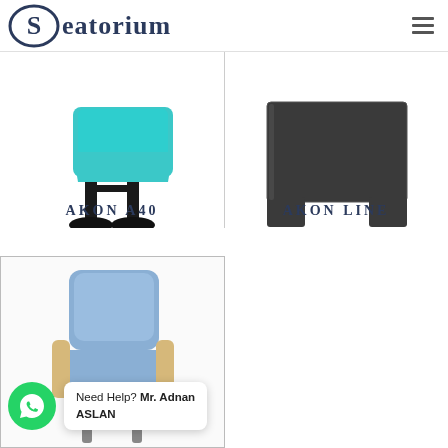Seatorium
[Figure (photo): Product photo of AKON A40 auditorium seat with teal/turquoise upholstery and black metal base legs, showing bottom portion of chair]
AKON A40
[Figure (photo): Product photo of AKON LINE auditorium seat panel/divider in dark charcoal/anthracite color, showing structural side panel]
AKON LINE
[Figure (photo): Product photo of an auditorium/theater seat with light blue upholstery and wooden armrests on metal base, partially visible]
Need Help? Mr. Adnan ASLAN